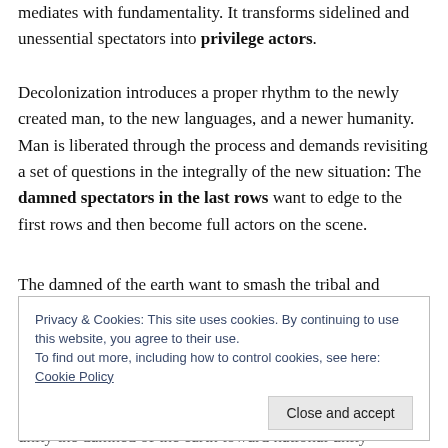mediates with fundamentality. It transforms sidelined and unessential spectators into privilege actors.
Decolonization introduces a proper rhythm to the newly created man, to the new languages, and a newer humanity.  Man is liberated through the process and demands revisiting a set of questions in the integrally of the new situation: The damned spectators in the last rows want to edge to the first rows and then become full actors on the scene.
The damned of the earth want to smash the tribal and
Privacy & Cookies: This site uses cookies. By continuing to use this website, you agree to their use.
To find out more, including how to control cookies, see here: Cookie Policy
Close and accept
unity the damned of the earth toward national unity